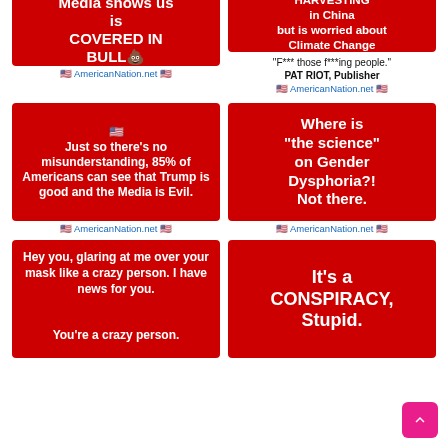[Figure (infographic): Red meme box (partially cropped): 'Media shows us is COVERED IN BULL💩']
🇺🇸 AmericanNation.net 🇺🇸
[Figure (infographic): Red meme box (partially cropped): 'HARVESTING in China but is worried about Climate Change']
"F*** those f***ing people." PAT RIOT, Publisher
🇺🇸 AmericanNation.net 🇺🇸
[Figure (infographic): Red meme box: '🇺🇸 Just so there's no misunderstanding, 85% of Americans can see that Trump is good and the Media is Evil.']
🇺🇸 AmericanNation.net 🇺🇸
[Figure (infographic): Red meme box: 'Where is "the science" on Gender Dysphoria?! Not there.']
🇺🇸 AmericanNation.net 🇺🇸
[Figure (infographic): Red meme box: 'Hey you, glaring at me over your mask like a crazy person. I have news for you. You're a crazy person.']
[Figure (infographic): Red meme box: 'It's a CONSPIRACY, Stupid.']